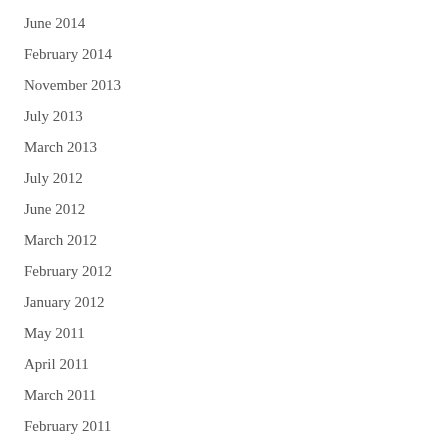June 2014
February 2014
November 2013
July 2013
March 2013
July 2012
June 2012
March 2012
February 2012
January 2012
May 2011
April 2011
March 2011
February 2011
January 2011